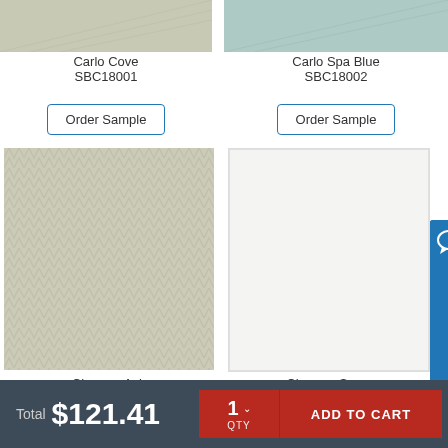[Figure (photo): Carlo Cove fabric swatch, light gray-green color, partially cropped at top]
[Figure (photo): Carlo Spa Blue fabric swatch, light blue-gray color, partially cropped at top]
Carlo Cove
SBC18001
[Figure (other): Order Sample button for Carlo Cove]
Carlo Spa Blue
SBC18002
[Figure (other): Order Sample button for Carlo Spa Blue]
[Figure (photo): Chevron Ash fabric swatch with herringbone/chevron pattern in ash gray color]
[Figure (photo): Chevron Snow fabric swatch, very light white/off-white color]
Chevron Ash
SBCH18010
[Figure (other): Order Sample button for Chevron Ash]
Chevron Snow
SBCH18009
[Figure (other): Order Sample button for Chevron Snow]
[Figure (other): Live Chat button on right side]
Total $121.41
1 QTY  ADD TO CART